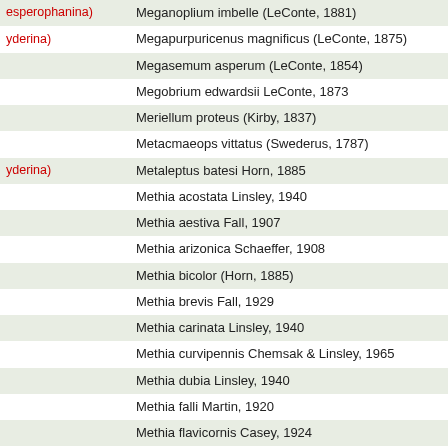| Subfamily/Tribe | Species |
| --- | --- |
| esperophanina) | Meganoplium imbelle (LeConte, 1881) |
| yderina) | Megapurpuricenus magnificus (LeConte, 1875) |
|  | Megasemum asperum (LeConte, 1854) |
|  | Megobrium edwardsii LeConte, 1873 |
|  | Meriellum proteus (Kirby, 1837) |
|  | Metacmaeops vittatus (Swederus, 1787) |
| yderina) | Metaleptus batesi Horn, 1885 |
|  | Methia acostata Linsley, 1940 |
|  | Methia aestiva Fall, 1907 |
|  | Methia arizonica Schaeffer, 1908 |
|  | Methia bicolor (Horn, 1885) |
|  | Methia brevis Fall, 1929 |
|  | Methia carinata Linsley, 1940 |
|  | Methia curvipennis Chemsak & Linsley, 1965 |
|  | Methia dubia Linsley, 1940 |
|  | Methia falli Martin, 1920 |
|  | Methia flavicornis Casey, 1924 |
|  | Methia juniperi Linsley, 1937 |
|  | Methia knulli Linsley, 1940 |
|  | Methia lata Knull, 1958 |
|  | Methia mormona Linell, 1897 |
|  | Methia necydalea (Fabricius, 1798) |
|  | Methia robusta Linsley, 1940 |
|  | Methia tenuipes (Haldeman, 1848) |
|  | Michthisoma heterodoxum LeConte, 1850 |